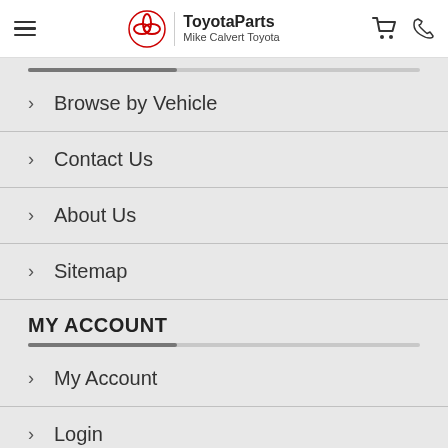ToyotaParts Mike Calvert Toyota
Browse by Vehicle
Contact Us
About Us
Sitemap
MY ACCOUNT
My Account
Login